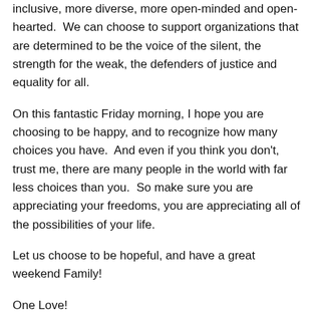inclusive, more diverse, more open-minded and open-hearted.  We can choose to support organizations that are determined to be the voice of the silent, the strength for the weak, the defenders of justice and equality for all.
On this fantastic Friday morning, I hope you are choosing to be happy, and to recognize how many choices you have.  And even if you think you don't, trust me, there are many people in the world with far less choices than you.  So make sure you are appreciating your freedoms, you are appreciating all of the possibilities of your life.
Let us choose to be hopeful, and have a great weekend Family!
One Love!
Namaste!